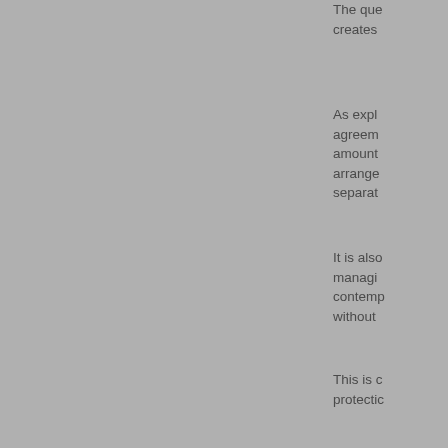The que creates
As expl agreem amount arrange separat
It is also managi contemp without
This is c protectic
The fac relevant be nece investor